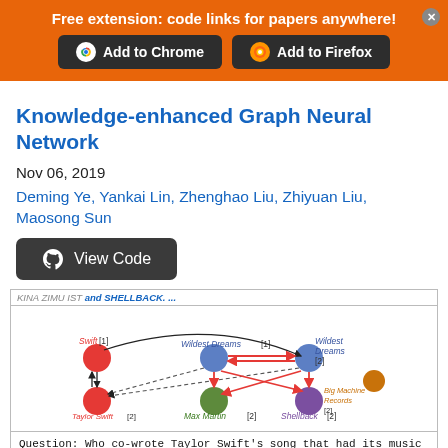Free extension: code links for papers anywhere!
Knowledge-enhanced Graph Neural Network
Nov 06, 2019
Deming Ye, Yankai Lin, Zhenghao Liu, Zhiyuan Liu, Maosong Sun
View Code
[Figure (network-graph): A knowledge graph diagram showing nodes: Swift [1] (red), Wildest Dreams [1] (blue), Wildest Dreams [2] (blue), Taylor Swift [2] (red), Max Martin [2] (green), Shellback [2] (purple), Big Machine Records [2] (orange). Connected by red and black arrows indicating relations.]
Question: Who co-wrote Taylor Swift's song that had its music video premiere during the pre-show of the 2015 MTV Video Music Awards?